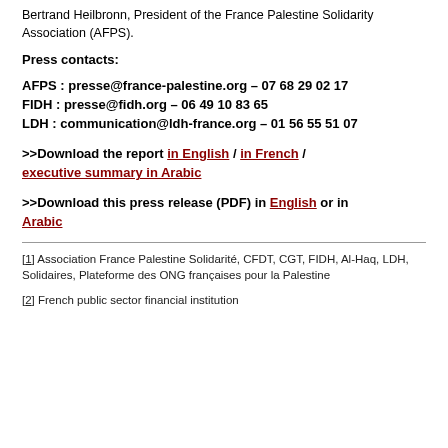Bertrand Heilbronn, President of the France Palestine Solidarity Association (AFPS).
Press contacts:
AFPS : presse@france-palestine.org – 07 68 29 02 17
FIDH : presse@fidh.org – 06 49 10 83 65
LDH : communication@ldh-france.org – 01 56 55 51 07
>>Download the report in English / in French / executive summary in Arabic
>>Download this press release (PDF) in English or in Arabic
[1] Association France Palestine Solidarité, CFDT, CGT, FIDH, Al-Haq, LDH, Solidaires, Plateforme des ONG françaises pour la Palestine
[2] French public sector financial institution